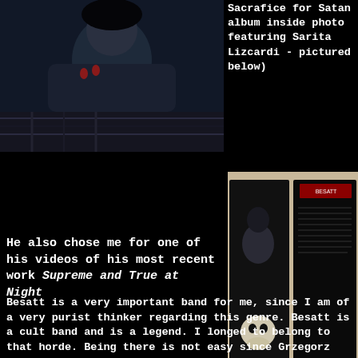[Figure (photo): Top-left photo of a person holding something, dark tones with blue/dark background]
Sacrafice for Satan album inside photo featuring Sarita Lizcardi - pictured below)
[Figure (photo): Photo of an open album booklet/vinyl record showing dark imagery with skull and figure, with text on right side]
He also chose me for one of his videos of his most recent work Supreme and True at Night
Besatt is a very important band for me, since I am of a very purist thinker regarding this genre. Besatt is a cult band and is a legend.  I longed to belong to that horde. Being there is not easy since Grzegorz Biniek is a very perfectionist type of person!